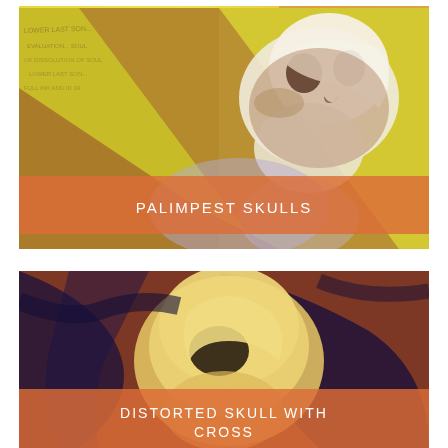[Figure (illustration): Partial top edge of an artwork showing a colorful skull painting with yellow background, partially cropped at top of page]
[Figure (illustration): Artwork titled 'Palimpest Skulls' showing a skull illustration with yellow and brown tones, overlaid with handwritten/printed text, with an orange semi-transparent banner label reading 'PALIMPEST SKULLS']
PALIMPEST SKULLS
[Figure (illustration): Artwork titled 'Distorted Skull with Cross' showing a distorted skull against a dark orange and navy blue background, with an orange semi-transparent banner label reading 'DISTORTED SKULL WITH CROSS']
DISTORTED SKULL WITH CROSS